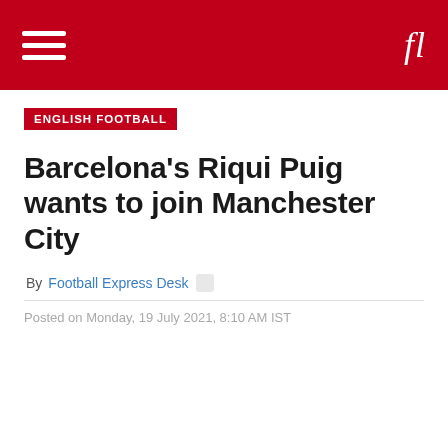fl
ENGLISH FOOTBALL
Barcelona’s Riqui Puig wants to join Manchester City
By Football Express Desk
Posted on Monday, 19 July 2021, 8:10 AM IST